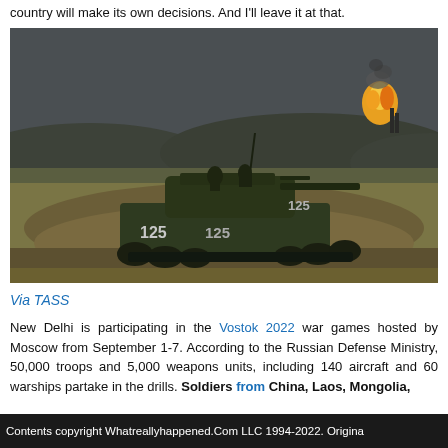country will make its own decisions. And I'll leave it at that.
[Figure (photo): Military tank (number 125) driving through a trench or earthen berm on a field exercise, with fire and smoke visible in the background on the horizon. Overcast sky.]
Via TASS
New Delhi is participating in the Vostok 2022 war games hosted by Moscow from September 1-7. According to the Russian Defense Ministry, 50,000 troops and 5,000 weapons units, including 140 aircraft and 60 warships partake in the drills. Soldiers from China, Laos, Mongolia,
Contents copyright Whatreallyhappened.Com LLC 1994-2022. Origina